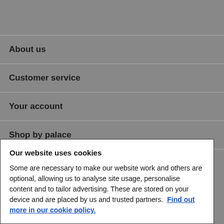About us
Customer service
Your account
Shop by palace
Site information
Our website uses cookies
Some are necessary to make our website work and others are optional, allowing us to analyse site usage, personalise content and to tailor advertising. These are stored on your device and are placed by us and trusted partners.  Find out more in our cookie policy.